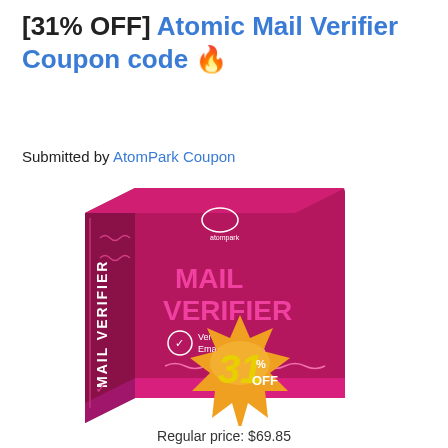[31% OFF] Atomic Mail Verifier Coupon code 🔥
Submitted by AtomPark Coupon
[Figure (illustration): Product box for Atomic Mail Verifier software showing a dark pink/crimson box with 'MAIL VERIFIER' text, atompark logo, 'Verify Email Addresses' label, and a gold starburst badge showing 31% OFF]
Regular price: $69.85